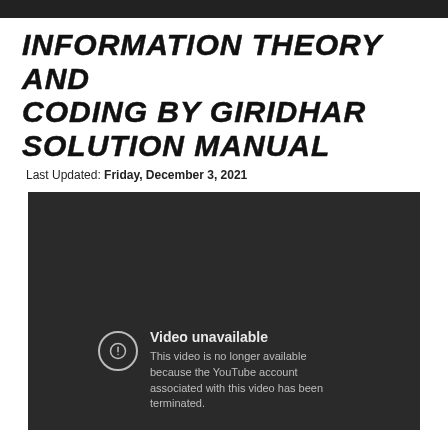INFORMATION THEORY AND CODING BY GIRIDHAR SOLUTION MANUAL
Last Updated: Friday, December 3, 2021
[Figure (screenshot): Embedded YouTube video player showing 'Video unavailable' error. Dark background with a circle exclamation icon and message: 'This video is no longer available because the YouTube account associated with this video has been terminated.']